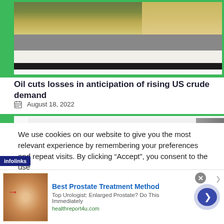[Figure (photo): Top portion of an article thumbnail image showing grass and sand/dirt landscape with green border, white bar and black bar at bottom]
Oil cuts losses in anticipation of rising US crude demand
August 18, 2022
[Figure (photo): Second article thumbnail image with green background, tape strip visible, white paper and dark grey right side]
We use cookies on our website to give you the most relevant experience by remembering your preferences and repeat visits. By clicking “Accept”, you consent to the use
infolinks
[Figure (photo): Advertisement banner: Best Prostate Treatment Method - Top Urologist: Enlarged Prostate? Do This Immediately - healthreport4u.com]